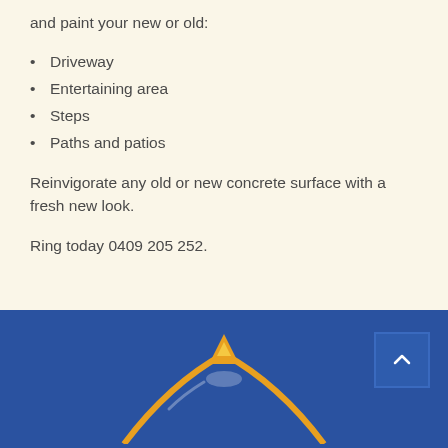and paint your new or old:
Driveway
Entertaining area
Steps
Paths and patios
Reinvigorate any old or new concrete surface with a fresh new look.
Ring today 0409 205 252.
[Figure (logo): Blue and gold tent logo at bottom of page on dark blue background]